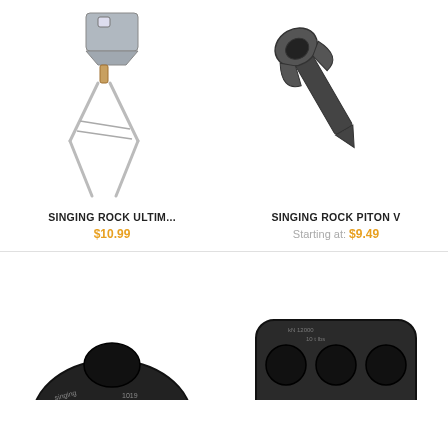[Figure (photo): Singing Rock wire nut climbing protection with looped cable sling]
[Figure (photo): Singing Rock Piton V — black metal blade piton with eye hole]
SINGING ROCK ULTIM...
$10.99
SINGING ROCK PITON V
Starting at: $9.49
[Figure (photo): Singing Rock belay/rappel plate, black oval shape with engraved markings, partial view]
[Figure (photo): Black three-hole anchor plate, partial view from bottom]